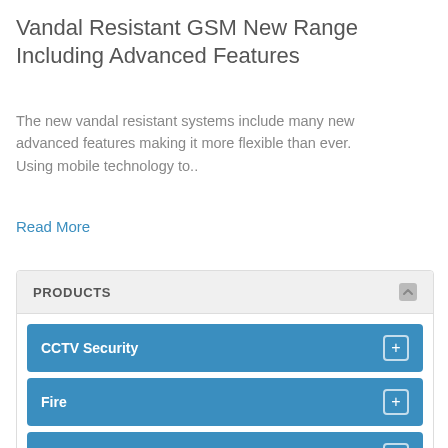Vandal Resistant GSM New Range Including Advanced Features
The new vandal resistant systems include many new advanced features making it more flexible than ever. Using mobile technology to..
Read More
PRODUCTS
CCTV Security
Fire
Intruder Alarm Systems
Door Entry & Access Control
Audio & Video Phones